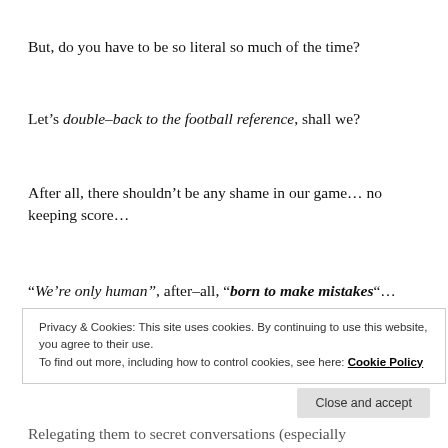But, do you have to be so literal so much of the time?
Let’s double-back to the football reference, shall we?
After all, there shouldn’t be any shame in our game… no keeping score…
“We’re only human”, after-all, “born to make mistakes”…
Privacy & Cookies: This site uses cookies. By continuing to use this website, you agree to their use.
To find out more, including how to control cookies, see here: Cookie Policy
Close and accept
Relegating them to secret conversations (especially